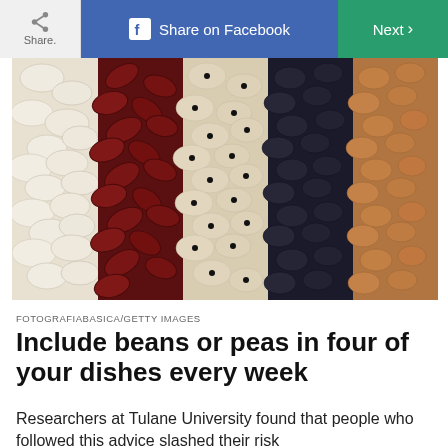Share | Share on Facebook | Next >
[Figure (photo): Five varieties of beans and legumes arranged in vertical columns: white beans, dark red kidney beans, black-eyed peas, black beans, and brown/pinto beans]
FOTOGRAFIABASICA/GETTY IMAGES
Include beans or peas in four of your dishes every week
Researchers at Tulane University found that people who followed this advice slashed their risk